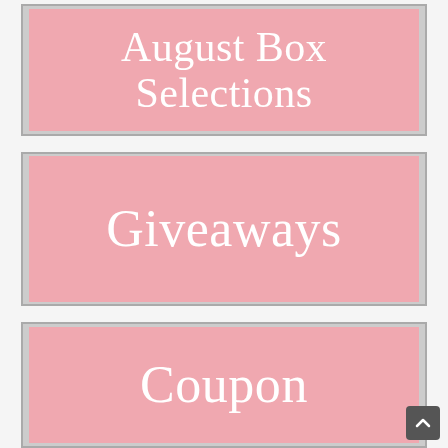[Figure (illustration): Pink banner card with white serif text reading 'August Box Selections']
[Figure (illustration): Pink banner card with white serif text reading 'Giveaways']
[Figure (illustration): Pink banner card with white serif text reading 'Coupon' (partially visible)]